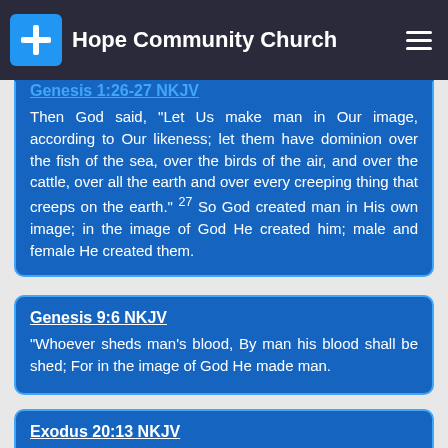Hope Community Church
Genesis 1:26-27 NKJV
Then God said, "Let Us make man in Our image, according to Our likeness; let them have dominion over the fish of the sea, over the birds of the air, and over the cattle, over all the earth and over every creeping thing that creeps on the earth." 27 So God created man in His own image; in the image of God He created him; male and female He created them.
Genesis 9:6 NKJV
"Whoever sheds man's blood, By man his blood shall be shed; For in the image of God He made man.
Exodus 20:13 NKJV
"You shall not murder.